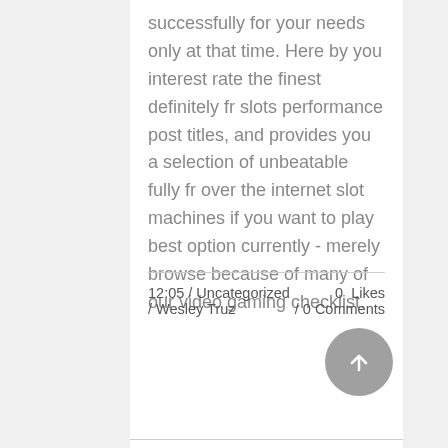successfully for your needs only at that time. Here by you interest rate the finest definitely fr slots performance post titles, and provides you a selection of unbeatable fully fr over the internet slot machines if you want to play best option currently - merely browse because of many of our video gaming checklist.
12:05 / Uncategorized / Wesley Truz   0 Likes / 0 Comments